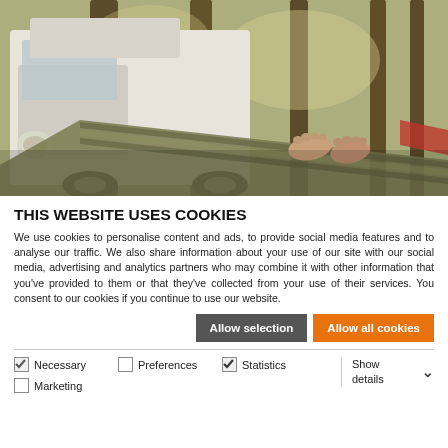[Figure (photo): Outdoor scene showing a white camper van parked among tall trees in a forest, with a person's feet visible in a hammock in the foreground]
THIS WEBSITE USES COOKIES
We use cookies to personalise content and ads, to provide social media features and to analyse our traffic. We also share information about your use of our site with our social media, advertising and analytics partners who may combine it with other information that you've provided to them or that they've collected from your use of their services. You consent to our cookies if you continue to use our website.
Allow selection | Allow all cookies
Necessary  Preferences  Statistics  Marketing  Show details